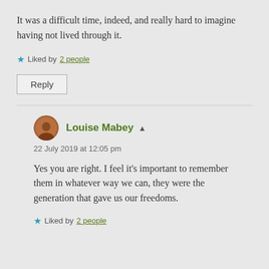It was a difficult time, indeed, and really hard to imagine having not lived through it.
★ Liked by 2 people
Reply
Louise Mabey
22 July 2019 at 12:05 pm
Yes you are right. I feel it's important to remember them in whatever way we can, they were the generation that gave us our freedoms.
★ Liked by 2 people